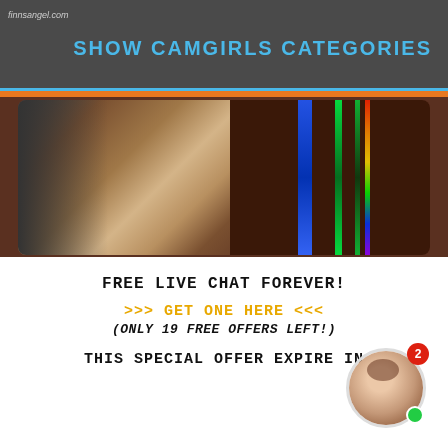finnsangel.com — SHOW CAMGIRLS CATEGORIES
[Figure (photo): Banner image of a person with long hair in a dark room with neon lights (green, blue, multicolor) in the background]
FREE LIVE CHAT FOREVER!
>>> GET ONE HERE <<<
(ONLY 19 FREE OFFERS LEFT!)
THIS SPECIAL OFFER EXPIRE IN
[Figure (photo): Small circular avatar of a woman with a red badge showing '2' and a green online indicator dot]